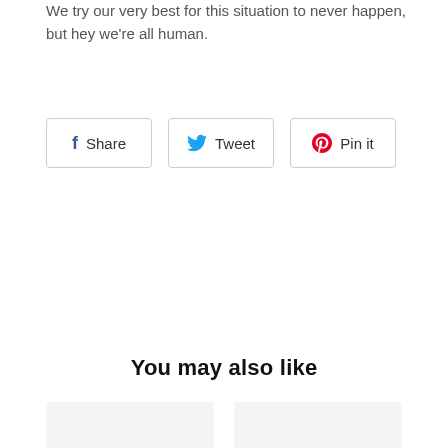We try our very best for this situation to never happen, but hey we're all human.
[Figure (infographic): Three social sharing buttons: Facebook Share, Twitter Tweet, Pinterest Pin it]
You may also like
[Figure (illustration): Two product card placeholders with light gray background]